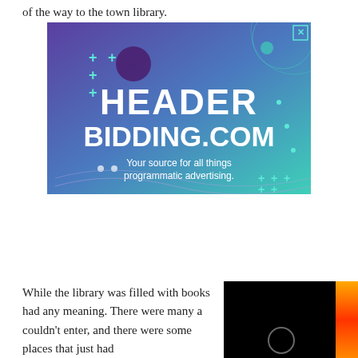of the way to the town library.
[Figure (screenshot): Advertisement banner for headerbidding.com with gradient purple-to-teal background, decorative plus signs and circles, bold white text reading HEADER BIDDING.COM, subtitle Your source for all things programmatic advertising., close button top right, wavy grid lines at bottom]
While the library was filled with books had any meaning. There were many a couldn't enter, and there were some places that just had